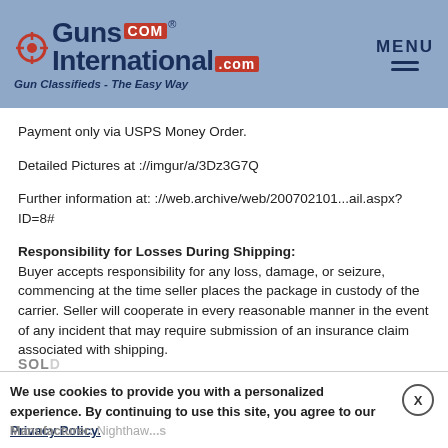[Figure (logo): GunsInternational.com logo with crosshair icon, dark blue text, red .COM badge, and tagline 'Gun Classifieds - The Easy Way']
Payment only via USPS Money Order.
Detailed Pictures at ://imgur/a/3Dz3G7Q
Further information at: ://web.archive/web/200702101...ail.aspx?ID=8#
Responsibility for Losses During Shipping:
Buyer accepts responsibility for any loss, damage, or seizure, commencing at the time seller places the package in custody of the carrier. Seller will cooperate in every reasonable manner in the event of any incident that may require submission of an insurance claim associated with shipping.
We use cookies to provide you with a personalized experience. By continuing to use this site, you agree to our Privacy Policy.
Manufacturer: Nighthaw...s